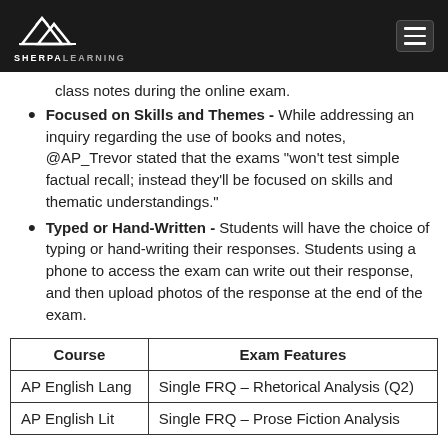SHERPALEARNING
class notes during the online exam.
Focused on Skills and Themes - While addressing an inquiry regarding the use of books and notes, @AP_Trevor stated that the exams "won't test simple factual recall; instead they'll be focused on skills and thematic understandings."
Typed or Hand-Written - Students will have the choice of typing or hand-writing their responses. Students using a phone to access the exam can write out their response, and then upload photos of the response at the end of the exam.
| Course | Exam Features |
| --- | --- |
| AP English Lang | Single FRQ – Rhetorical Analysis (Q2) |
| AP English Lit | Single FRQ – Prose Fiction Analysis |